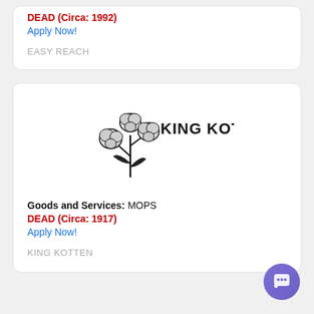DEAD (Circa: 1992)
Apply Now!
EASY REACH
[Figure (logo): King Kotton logo with cotton plant illustration and text KING KOTTON]
Goods and Services: MOPS
DEAD (Circa: 1917)
Apply Now!
KING KOTTEN